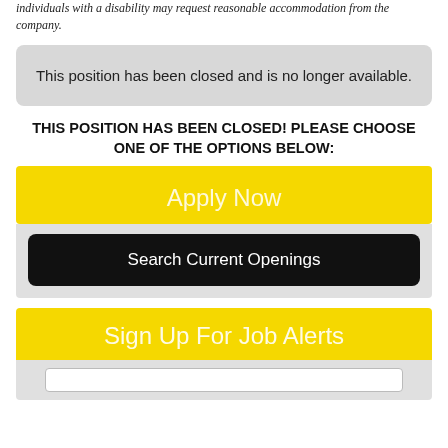individuals with a disability may request reasonable accommodation from the company.
This position has been closed and is no longer available.
THIS POSITION HAS BEEN CLOSED! PLEASE CHOOSE ONE OF THE OPTIONS BELOW:
Apply Now
Search Current Openings
Sign Up For Job Alerts